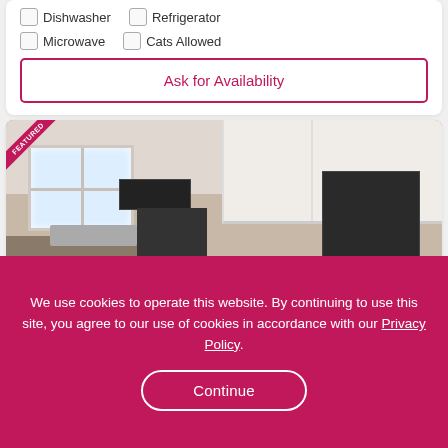Dishwasher  Refrigerator
Microwave  Cats Allowed
Ask for Availability
[Figure (photo): Kitchen interior with white upper cabinets, stainless steel appliances including microwave, stove, and refrigerator, granite countertops, and a window on the left. FEATURED ribbon in top-left corner.]
We use cookies to operate this website. By continuing to use this site, you agree to our use of cookies in accordance with our Privacy Policy.
Continue